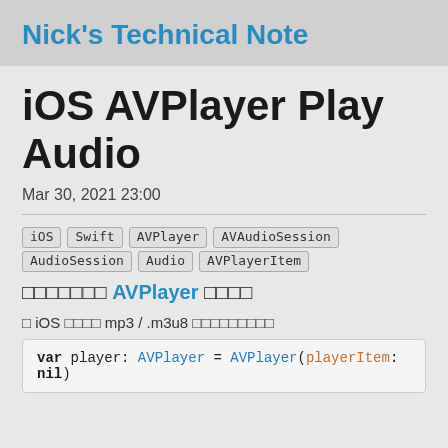Nick's Technical Note
iOS AVPlayer Play Audio
Mar 30, 2021 23:00
iOS
Swift
AVPlayer
AVAudioSession
AudioSession
Audio
AVPlayerItem
□□□□□□□ AVPlayer □□□□
□ iOS □□□□ mp3 / .m3u8 □□□□□□□□□
var player: AVPlayer = AVPlayer(playerItem: nil)